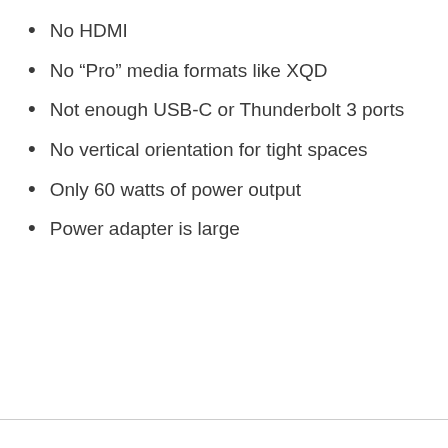No HDMI
No “Pro” media formats like XQD
Not enough USB-C or Thunderbolt 3 ports
No vertical orientation for tight spaces
Only 60 watts of power output
Power adapter is large